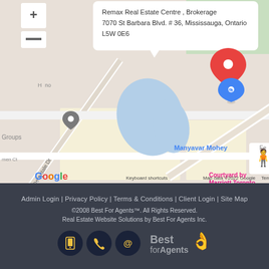[Figure (screenshot): Google Maps screenshot showing location of Remax Real Estate Centre Brokerage at 7070 St Barbara Blvd. #36, Mississauga, Ontario L5W 0E6. Map shows nearby landmarks: Manyavar Mohey, GuruLukshmi, The Hakka Club - Saint Barbara Blvd, Courtyard by Marriott Toronto. Streets visible: Derrydale Dr, Derry Rd W, Derry Rd. Google branding and map controls visible.]
Admin Login | Privacy Policy | Terms & Conditions | Client Login | Site Map
©2008 Best For Agents™. All Rights Reserved.
Real Estate Website Solutions by Best For Agents Inc.